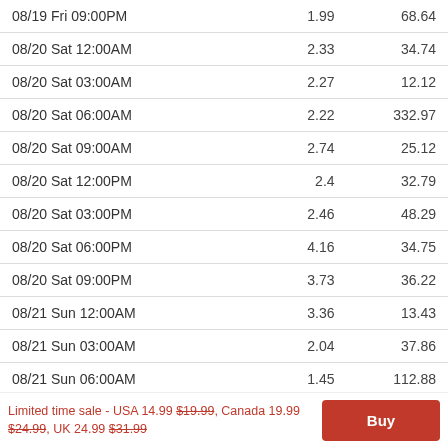| 08/19 Fri 09:00PM | 1.99 | 68.64 |
| 08/20 Sat 12:00AM | 2.33 | 34.74 |
| 08/20 Sat 03:00AM | 2.27 | 12.12 |
| 08/20 Sat 06:00AM | 2.22 | 332.97 |
| 08/20 Sat 09:00AM | 2.74 | 25.12 |
| 08/20 Sat 12:00PM | 2.4 | 32.79 |
| 08/20 Sat 03:00PM | 2.46 | 48.29 |
| 08/20 Sat 06:00PM | 4.16 | 34.75 |
| 08/20 Sat 09:00PM | 3.73 | 36.22 |
| 08/21 Sun 12:00AM | 3.36 | 13.43 |
| 08/21 Sun 03:00AM | 2.04 | 37.86 |
| 08/21 Sun 06:00AM | 1.45 | 112.88 |
| 08/21 Sun 09:00AM | 1.13 | 137.24 |
Limited time sale - USA 14.99 $19.99, Canada 19.99 $24.99, UK 24.99 $31.99